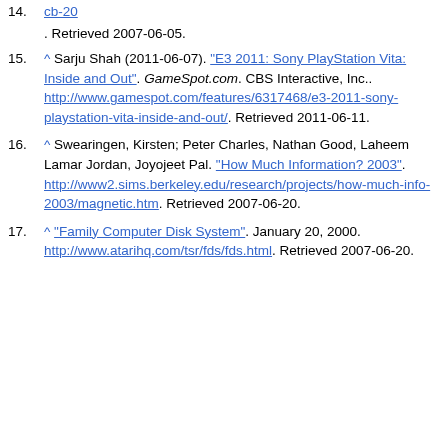^ Sarju Shah (2011-06-07). "E3 2011: Sony PlayStation Vita: Inside and Out". GameSpot.com. CBS Interactive, Inc.. http://www.gamespot.com/features/6317468/e3-2011-sony-playstation-vita-inside-and-out/. Retrieved 2011-06-11.
^ Swearingen, Kirsten; Peter Charles, Nathan Good, Laheem Lamar Jordan, Joyojeet Pal. "How Much Information? 2003". http://www2.sims.berkeley.edu/research/projects/how-much-info-2003/magnetic.htm. Retrieved 2007-06-20.
^ "Family Computer Disk System". January 20, 2000. http://www.atarihq.com/tsr/fds/fds.html. Retrieved 2007-06-20.